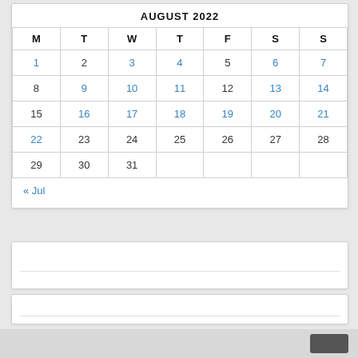AUGUST 2022
| M | T | W | T | F | S | S |
| --- | --- | --- | --- | --- | --- | --- |
| 1 | 2 | 3 | 4 | 5 | 6 | 7 |
| 8 | 9 | 10 | 11 | 12 | 13 | 14 |
| 15 | 16 | 17 | 18 | 19 | 20 | 21 |
| 22 | 23 | 24 | 25 | 26 | 27 | 28 |
| 29 | 30 | 31 |  |  |  |  |
« Jul